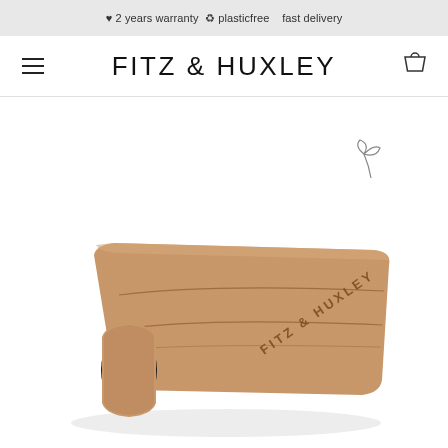♥ 2 years warranty ♻ plasticfree   fast delivery
FITZ & HUXLEY
[Figure (photo): A rolled cork yoga mat with 'FITZ & HUXLEY' branding printed on it. The mat is partially rolled from one end, showing the dark rubber underside. The cork surface has subtle wave/line patterns. The mat is photographed at an angle on a white background.]
[Figure (illustration): Small leaf/plant icon SVG decoration in the upper right area of the page]